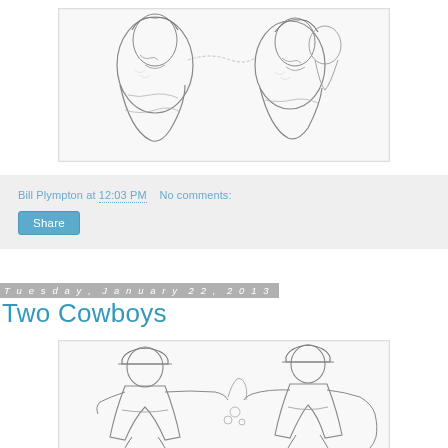[Figure (illustration): Pencil sketch illustration of two figures facing each other, one appears to be blowing smoke or breath toward the other, detailed cross-hatching style drawing]
Bill Plympton at 12:03 PM   No comments:
Share
Tuesday, January 22, 2013
Two Cowboys
[Figure (illustration): Pencil sketch illustration of two cartoon cowboys in an exaggerated style, appearing to be in a confrontation or humorous interaction with fluid/liquid splashing between them]